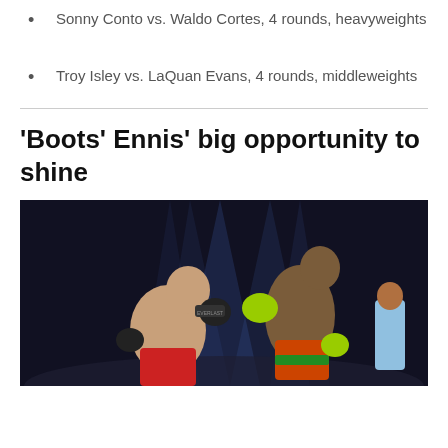Sonny Conto vs. Waldo Cortes, 4 rounds, heavyweights
Troy Isley vs. LaQuan Evans, 4 rounds, middleweights
'Boots' Ennis' big opportunity to shine
[Figure (photo): Two boxers fighting in the ring; one in red shorts throwing a punch at the other who wears green gloves and colorful trunks, dark arena with blue spotlights in background]